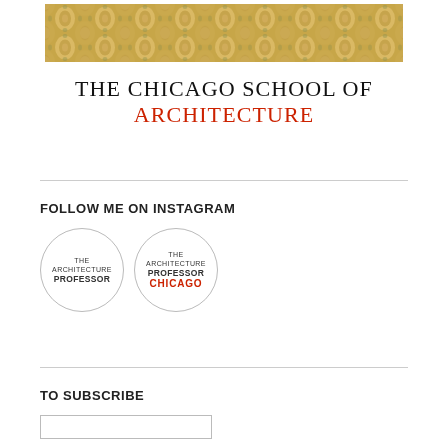[Figure (illustration): Decorative ornamental banner image with gold/green repeating geometric and floral patterns]
THE CHICAGO SCHOOL OF ARCHITECTURE
FOLLOW ME ON INSTAGRAM
[Figure (logo): Two circular Instagram profile logos: 'THE ARCHITECTURE PROFESSOR' (black text) and 'THE ARCHITECTURE PROFESSOR CHICAGO' (with CHICAGO in red)]
TO SUBSCRIBE